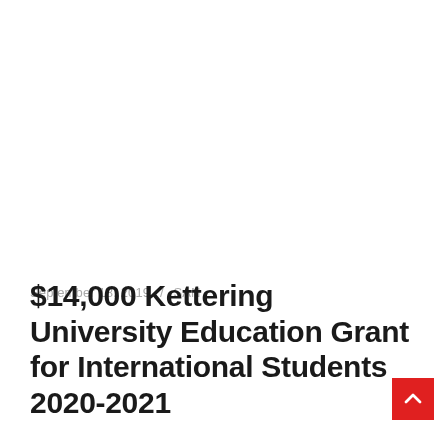September 18, 2019 / SAN
$14,000 Kettering University Education Grant for International Students 2020-2021